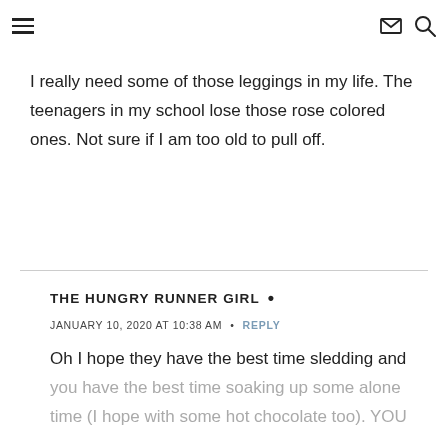[hamburger menu] [envelope icon] [search icon]
I really need some of those leggings in my life. The teenagers in my school lose those rose colored ones. Not sure if I am too old to pull off.
THE HUNGRY RUNNER GIRL • JANUARY 10, 2020 AT 10:38 AM • REPLY
Oh I hope they have the best time sledding and you have the best time soaking up some alone time (I hope with some hot chocolate too). YOU